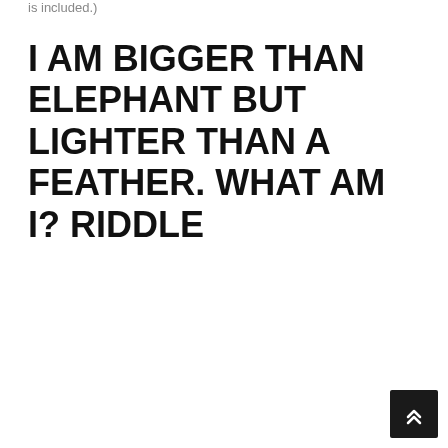is included.)
I AM BIGGER THAN ELEPHANT BUT LIGHTER THAN A FEATHER. WHAT AM I? RIDDLE